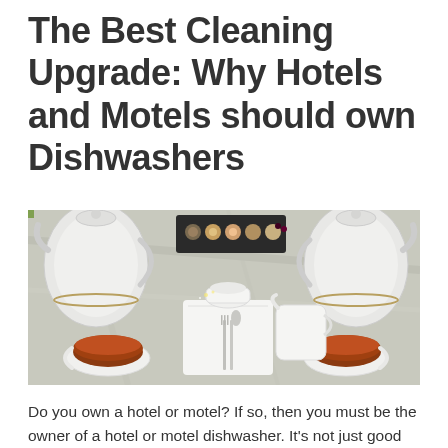The Best Cleaning Upgrade: Why Hotels and Motels should own Dishwashers
[Figure (photo): Overhead view of a hotel afternoon tea setting with white porcelain teapots, teacups with tea, a slate board with small desserts/pastries, cutlery, and a creamer jug on a marble-look surface.]
Do you own a hotel or motel? If so, then you must be the owner of a hotel or motel dishwasher. It's not just good